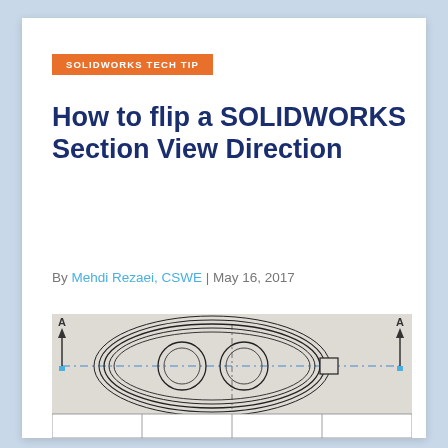SOLIDWORKS TECH TIP
How to flip a SOLIDWORKS Section View Direction
By Mehdi Rezaei, CSWE | May 16, 2017
[Figure (engineering-diagram): SOLIDWORKS engineering drawing showing a section view with two circular lobes inside an oval outline, with section line A-A indicated by arrows on left and right side and a center line, plus a partial table/title block at the bottom]